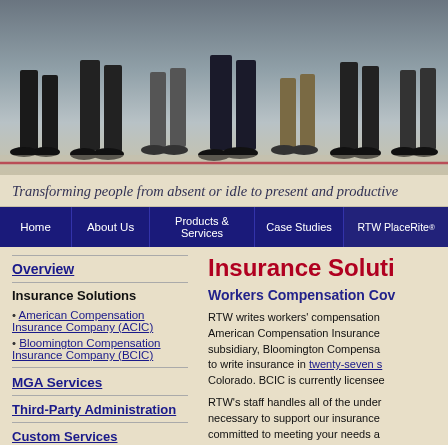[Figure (photo): Header photo of people walking, showing legs and feet, with a red horizontal line near the bottom]
Transforming people from absent or idle to present and productive
Home | About Us | Products & Services | Case Studies | RTW PlaceRite®
Overview
Insurance Solutions
• American Compensation Insurance Company (ACIC)
• Bloomington Compensation Insurance Company (BCIC)
MGA Services
Third-Party Administration
Custom Services
Quarterly Newsletters
Insurance Soluti…
Workers Compensation Cov…
RTW writes workers' compensation… American Compensation Insurance… subsidiary, Bloomington Compensa… to write insurance in twenty-seven s… Colorado. BCIC is currently license…
RTW's staff handles all of the under… necessary to support our insurance… committed to meeting your needs a…
In January of 2008, A.M. Best (Best… independent analyst of insurance co…
ACIC and BCIC are supported by e… minimum Best rating of A-. During…